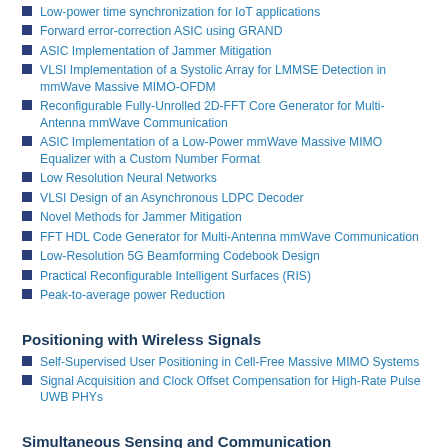Low-power time synchronization for IoT applications
Forward error-correction ASIC using GRAND
ASIC Implementation of Jammer Mitigation
VLSI Implementation of a Systolic Array for LMMSE Detection in mmWave Massive MIMO-OFDM
Reconfigurable Fully-Unrolled 2D-FFT Core Generator for Multi-Antenna mmWave Communication
ASIC Implementation of a Low-Power mmWave Massive MIMO Equalizer with a Custom Number Format
Low Resolution Neural Networks
VLSI Design of an Asynchronous LDPC Decoder
Novel Methods for Jammer Mitigation
FFT HDL Code Generator for Multi-Antenna mmWave Communication
Low-Resolution 5G Beamforming Codebook Design
Practical Reconfigurable Intelligent Surfaces (RIS)
Peak-to-average power Reduction
Positioning with Wireless Signals
Self-Supervised User Positioning in Cell-Free Massive MIMO Systems
Signal Acquisition and Clock Offset Compensation for High-Rate Pulse UWB PHYs
Simultaneous Sensing and Communication
Through Wall Radar Imaging using Machine Learning